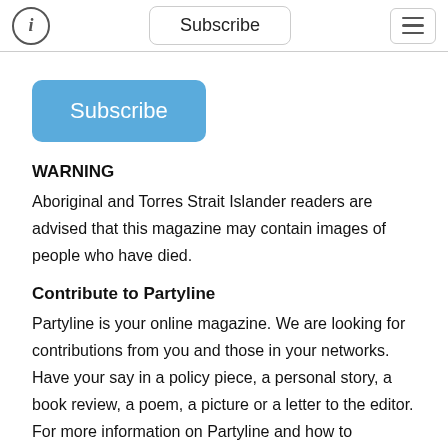Subscribe
[Figure (screenshot): Blue Subscribe button]
WARNING
Aboriginal and Torres Strait Islander readers are advised that this magazine may contain images of people who have died.
Contribute to Partyline
Partyline is your online magazine. We are looking for contributions from you and those in your networks. Have your say in a policy piece, a personal story, a book review, a poem, a picture or a letter to the editor. For more information on Partyline and how to contribute, visit the Contributor & advertising guidelines. page.